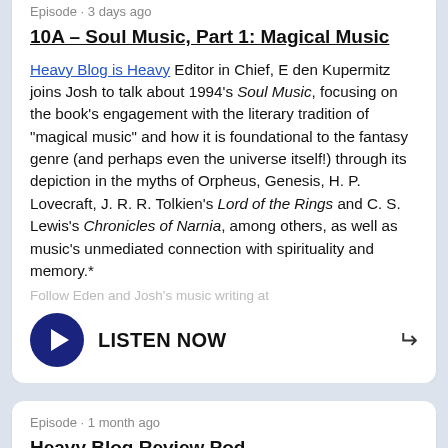Episode · 3 days ago
10A – Soul Music, Part 1: Magical Music
Heavy Blog is Heavy Editor in Chief, E den Kupermitz joins Josh to talk about 1994's Soul Music, focusing on the book's engagement with the literary tradition of "magical music" and how it is foundational to the fantasy genre (and perhaps even the universe itself!) through its depiction in the myths of Orpheus, Genesis, H. P. Lovecraft, J. R. R. Tolkien's Lord of the Rings and C. S. Lewis's Chronicles of Narnia, among others, as well as music's unmediated connection with spirituality and memory.*
Follow Eden and Josh's music writing at
[Figure (infographic): Play button (dark navy circle with white triangle) and LISTEN NOW text with share arrow icon]
Episode · 1 month ago
Heavy Blog Review Pod